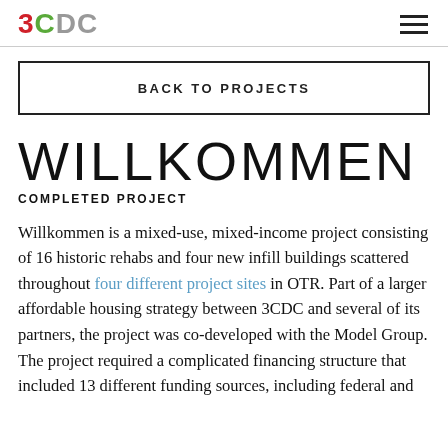3CDC
BACK TO PROJECTS
WILLKOMMEN
COMPLETED PROJECT
Willkommen is a mixed-use, mixed-income project consisting of 16 historic rehabs and four new infill buildings scattered throughout four different project sites in OTR. Part of a larger affordable housing strategy between 3CDC and several of its partners, the project was co-developed with the Model Group. The project required a complicated financing structure that included 13 different funding sources, including federal and